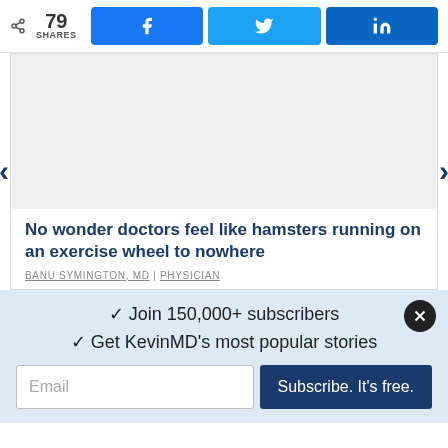79 SHARES
[Figure (screenshot): Social share buttons: Facebook, Twitter, LinkedIn]
[Figure (photo): Article image placeholder (gray background)]
No wonder doctors feel like hamsters running on an exercise wheel to nowhere
BANU SYMINGTON, MD | PHYSICIAN
Join 150,000+ subscribers
Get KevinMD's most popular stories
Email
Subscribe. It's free.